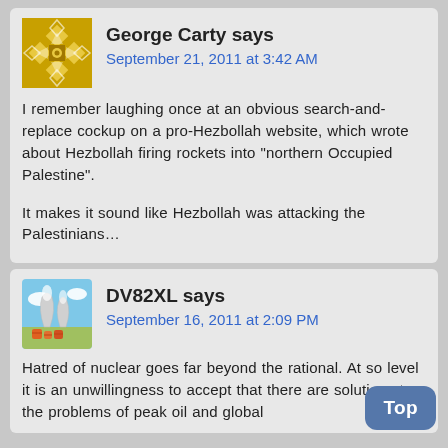[Figure (illustration): Geometric gold/yellow avatar icon with diamond and cross pattern]
George Carty says
September 21, 2011 at 3:42 AM
I remember laughing once at an obvious search-and-replace cockup on a pro-Hezbollah website, which wrote about Hezbollah firing rockets into "northern Occupied Palestine".

It makes it sound like Hezbollah was attacking the Palestinians…
[Figure (illustration): Cartoon avatar of a nuclear power plant with orange barrels]
DV82XL says
September 16, 2011 at 2:09 PM
Hatred of nuclear goes far beyond the rational. At so level it is an unwillingness to accept that there are solutions to the problems of peak oil and global